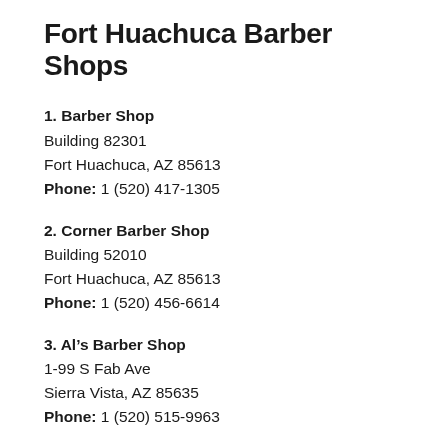Fort Huachuca Barber Shops
1. Barber Shop
Building 82301
Fort Huachuca, AZ 85613
Phone: 1 (520) 417-1305
2. Corner Barber Shop
Building 52010
Fort Huachuca, AZ 85613
Phone: 1 (520) 456-6614
3. Al’s Barber Shop
1-99 S Fab Ave
Sierra Vista, AZ 85635
Phone: 1 (520) 515-9963